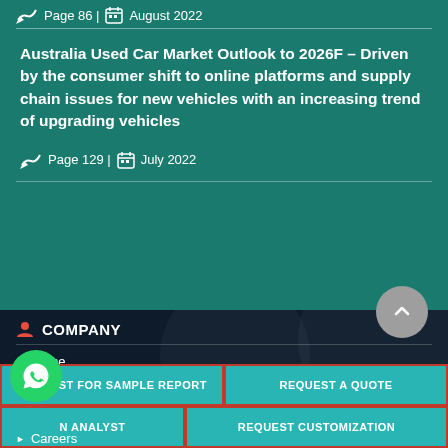Page 86 | August 2022
Australia Used Car Market Outlook to 2026F – Driven by the consumer shift to online platforms and supply chain issues for new vehicles with an increasing trend of upgrading vehicles
Page 129 | July 2022
COMPANY
Home
About US
REQUEST FOR SAMPLE REPORT | REQUEST A QUOTE | AN ANALYST | REQUEST CUSTOMIZATION
Careers